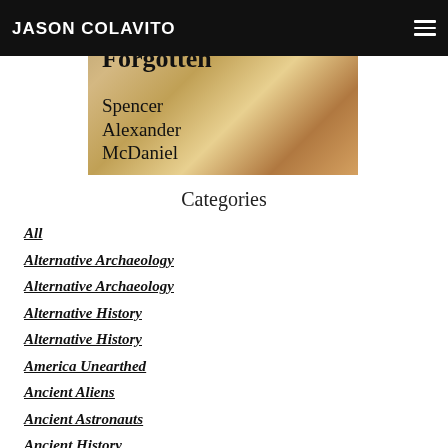JASON COLAVITO
[Figure (illustration): Book cover showing 'Tales of Times Forgotten' by Spencer Alexander McDaniel, with ancient mosaic or artwork imagery in the background]
Categories
All
Alternative Archaeology
Alternative Archaeology
Alternative History
Alternative History
America Unearthed
Ancient Aliens
Ancient Astronauts
Ancient History
Ancient Texts